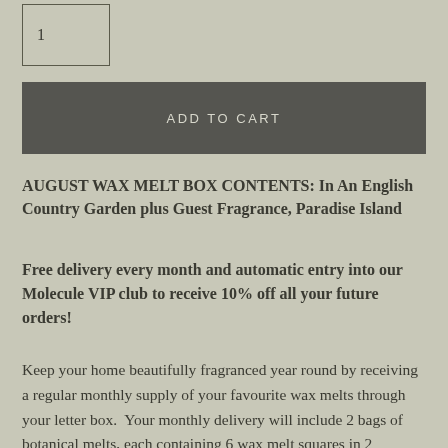1
ADD TO CART
AUGUST WAX MELT BOX CONTENTS: In An English Country Garden plus Guest Fragrance, Paradise Island
Free delivery every month and automatic entry into our Molecule VIP club to receive 10% off all your future orders!
Keep your home beautifully fragranced year round by receiving a regular monthly supply of your favourite wax melts through your letter box.  Your monthly delivery will include 2 bags of botanical melts, each containing 6 wax melt squares in 2 carefully selected fragrances.  One will be a classic Molecule fragrance and the second a new surprise